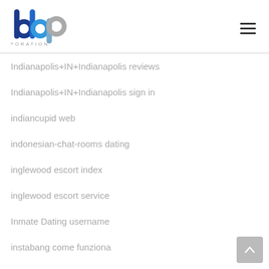[Figure (logo): BBP Corporation logo with blue and grey lettering]
Indianapolis+IN+Indianapolis reviews
Indianapolis+IN+Indianapolis sign in
indiancupid web
indonesian-chat-rooms dating
inglewood escort index
inglewood escort service
Inmate Dating username
instabang come funziona
instabang-inceleme gözden geçirmek